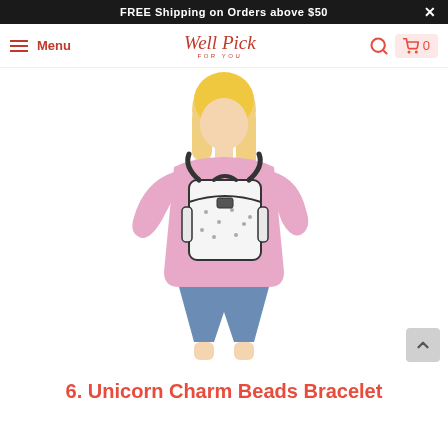FREE Shipping on Orders above $50
[Figure (logo): Well Pick For You website logo and navigation bar with menu, search, and cart icons]
[Figure (photo): Blonde woman wearing pink hoodie and denim shorts, shown from behind wearing a white unicorn-print backpack with black straps and buckles]
6. Unicorn Charm Beads Bracelet